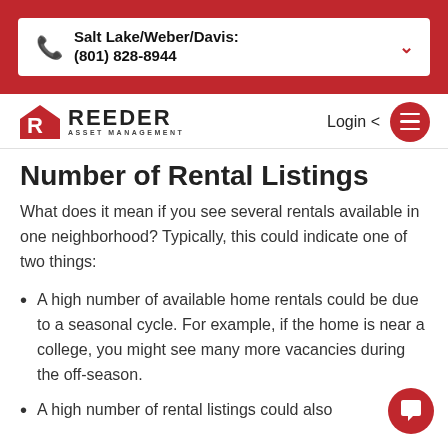Salt Lake/Weber/Davis: (801) 828-8944
[Figure (logo): Reeder Asset Management logo with red house/R icon]
Number of Rental Listings
What does it mean if you see several rentals available in one neighborhood? Typically, this could indicate one of two things:
A high number of available home rentals could be due to a seasonal cycle. For example, if the home is near a college, you might see many more vacancies during the off-season.
A high number of rental listings could also